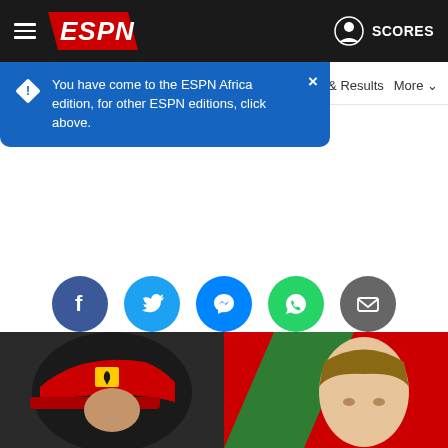ESPN — Scores
You have come to the ESPN Africa edition, for other ESPN editions, click above.
ar & Results   More
[Figure (screenshot): Social sharing icons row: Facebook (dark blue), Twitter (light blue), Messenger (blue), WhatsApp (green), Email (grey)]
Oscar Piastri hearing starts over McLaren, Alpine contracts
[Figure (photo): Two F1 drivers side by side: left person wearing a red Ferrari cap, right person in front of Alpine red/green background]